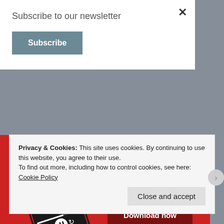Subscribe to our newsletter
Subscribe
[Figure (photo): Advertisement showing a smartphone with a podcast app open displaying 'Distributed' episode. Red background with text 'An app by listeners, for listeners.' and a 'Download now' button.]
Privacy & Cookies: This site uses cookies. By continuing to use this website, you agree to their use.
To find out more, including how to control cookies, see here: Cookie Policy
Close and accept